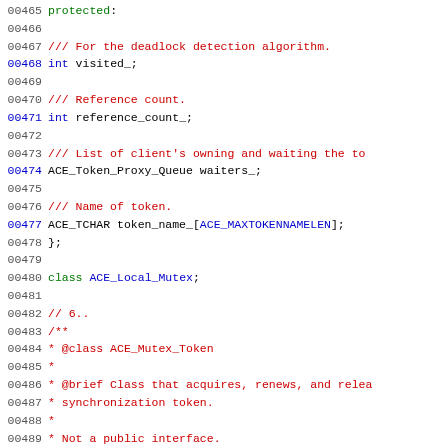Source code listing lines 00465-00494, C++ header file showing class members and documentation comments for ACE token classes.